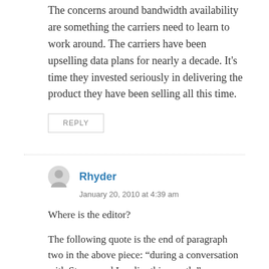The concerns around bandwidth availability are something the carriers need to learn to work around. The carriers have been upselling data plans for nearly a decade. It's time they invested seriously in delivering the product they have been selling all this time.
REPLY
Rhyder
January 20, 2010 at 4:39 am
Where is the editor?
The following quote is the end of paragraph two in the above piece: “during a conversation with Stacey and I earlier this month.”